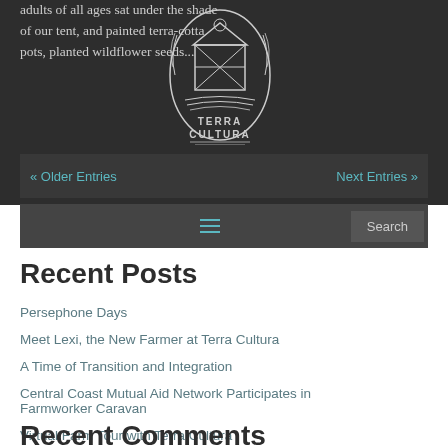adults of all ages sat under the shade of our tent, and painted terra-cotta pots, planted wildflower seeds...
[Figure (logo): Terra Cultura circular logo with barn/silo image and wheat sheaves]
« Older Entries    Next Entries »
Recent Posts
Persephone Days
Meet Lexi, the New Farmer at Terra Cultura
A Time of Transition and Integration
Central Coast Mutual Aid Network Participates in Farmworker Caravan
Virtual Farm Tour with Terra Cultura
Recent Comments